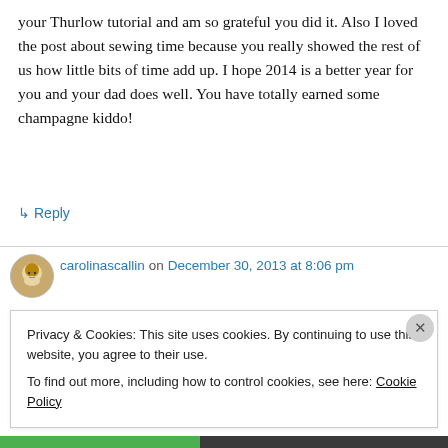your Thurlow tutorial and am so grateful you did it. Also I loved the post about sewing time because you really showed the rest of us how little bits of time add up. I hope 2014 is a better year for you and your dad does well. You have totally earned some champagne kiddo!
↳ Reply
carolinascallin on December 30, 2013 at 8:06 pm
Privacy & Cookies: This site uses cookies. By continuing to use this website, you agree to their use.
To find out more, including how to control cookies, see here: Cookie Policy
Close and accept